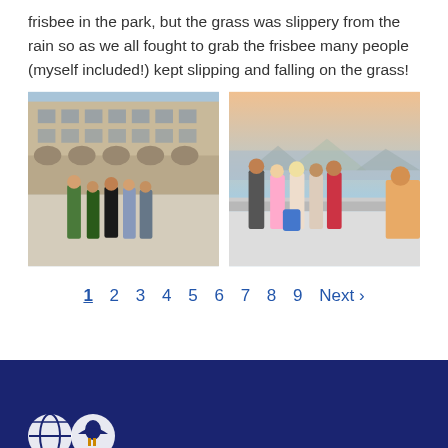frisbee in the park, but the grass was slippery from the rain so as we all fought to grab the frisbee many people (myself included!) kept slipping and falling on the grass!
[Figure (photo): Group of young women posing in front of a large ornate European building (appears to be Munich Marienplatz/New Town Hall). They are standing on a sunny plaza.]
[Figure (photo): Group of young women posing on an outdoor terrace or viewpoint with a city skyline and mountains in the background, likely Barcelona or similar European city.]
1  2  3  4  5  6  7  8  9  Next ›